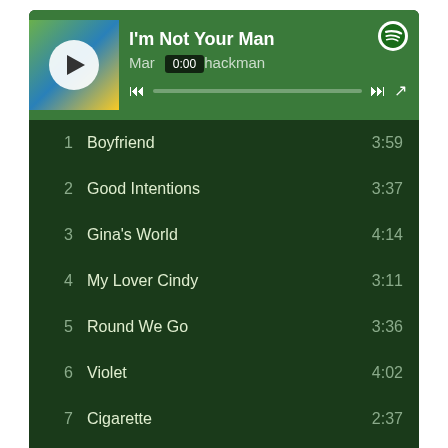[Figure (screenshot): Spotify music player showing album 'I'm Not Your Man' by Martha Blackman with a green-themed dark interface]
| # | Title | Duration |
| --- | --- | --- |
| 1 | Boyfriend | 3:59 |
| 2 | Good Intentions | 3:37 |
| 3 | Gina's World | 4:14 |
| 4 | My Lover Cindy | 3:11 |
| 5 | Round We Go | 3:36 |
| 6 | Violet | 4:02 |
| 7 | Cigarette | 2:37 |
| 8 | Time's Been Reckless | 3:54 |
| 9 | Apple Tree | 2:55 |
| 10 | So Long | 3:43 |